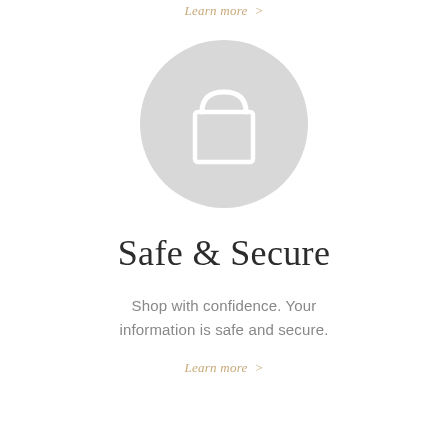Learn more >
[Figure (illustration): Gray circle with a white shopping bag/lock icon in the center]
Safe & Secure
Shop with confidence. Your information is safe and secure.
Learn more >